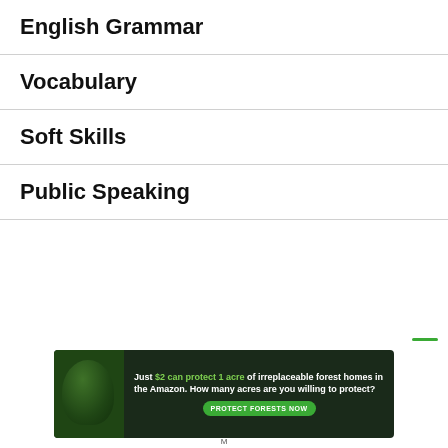English Grammar
Vocabulary
Soft Skills
Public Speaking
[Figure (other): Advertisement banner with dark forest background and animal photo. Text: 'Just $2 can protect 1 acre of irreplaceable forest homes in the Amazon. How many acres are you willing to protect?' with a green 'PROTECT FORESTS NOW' button.]
M